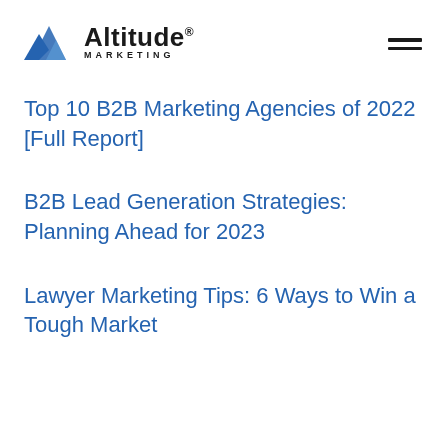[Figure (logo): Altitude Marketing logo with mountain peaks icon and text 'Altitude MARKETING']
Top 10 B2B Marketing Agencies of 2022 [Full Report]
B2B Lead Generation Strategies: Planning Ahead for 2023
Lawyer Marketing Tips: 6 Ways to Win a Tough Market